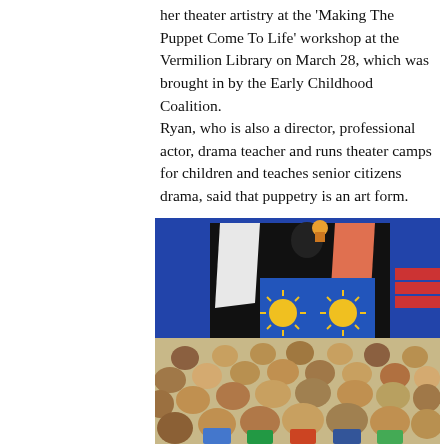her theater artistry at the 'Making The Puppet Come To Life' workshop at the Vermilion Library on March 28, which was brought in by the Early Childhood Coalition.
Ryan, who is also a director, professional actor, drama teacher and runs theater camps for children and teaches senior citizens drama, said that puppetry is an art form.
[Figure (photo): Children sitting on the floor watching a puppet show. A black puppet theater stage is visible with colorful decorations including yellow sun designs on a blue backdrop, a white draped cloth on the left, and orange draped cloth on the right. Blue curtains are visible in the background.]